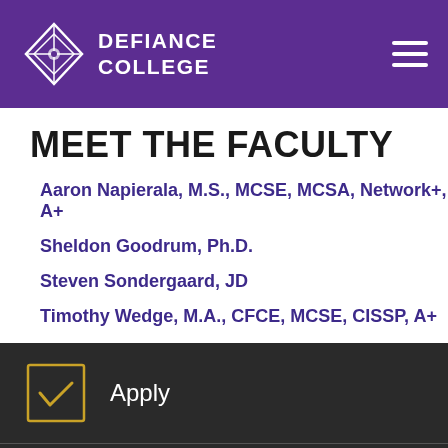DEFIANCE COLLEGE
MEET THE FACULTY
Aaron Napierala, M.S., MCSE, MCSA, Network+, A+
Sheldon Goodrum, Ph.D.
Steven Sondergaard, JD
Timothy Wedge, M.A., CFCE, MCSE, CISSP, A+
Apply
Information